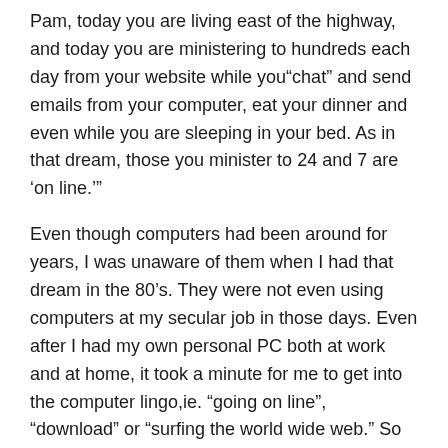Pam, today you are living east of the highway, and today you are ministering to hundreds each day from your website while you"chat" and send emails from your computer, eat your dinner and even while you are sleeping in your bed. As in that dream, those you minister to 24 and 7 are 'on line.'"
Even though computers had been around for years, I was unaware of them when I had that dream in the 80's. They were not even using computers at my secular job in those days. Even after I had my own personal PC both at work and at home, it took a minute for me to get into the computer lingo,ie. “going on line”, “download” or “surfing the world wide web.” So as I sat at my computer screen about 5 years ago, the Holy Ghost interpreted my dream for me, letting me know that with a computer, (with 12